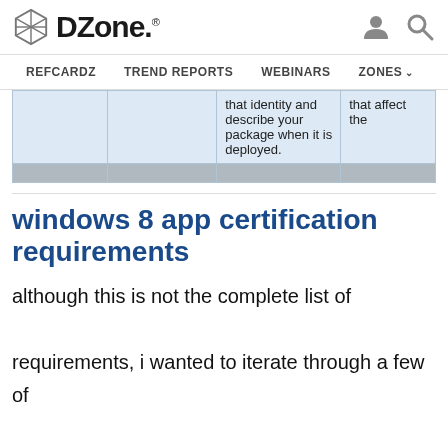DZone. REFCARDZ  TREND REPORTS  WEBINARS  ZONES
|  |  | that identify and describe your package when it is deployed. | that affect the |
|  |  |  |  |
windows 8 app certification requirements
although this is not the complete list of requirements, i wanted to iterate through a few of them. there are some obvious ones, like your add must provide a unique, creative value, or